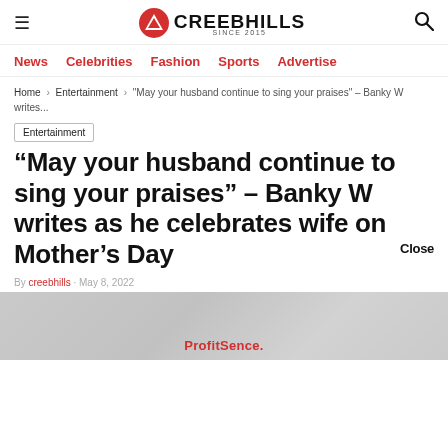CREEBHILLS SINCE 2015
News  Celebrities  Fashion  Sports  Advertise
Home > Entertainment > "May your husband continue to sing your praises" – Banky W writes...
Entertainment
“May your husband continue to sing your praises” – Banky W writes as he celebrates wife on Mother’s Day
By creebhills · May 8, 2022
[Figure (photo): Bottom image area showing partial photo with ProfitSence advertisement overlay]